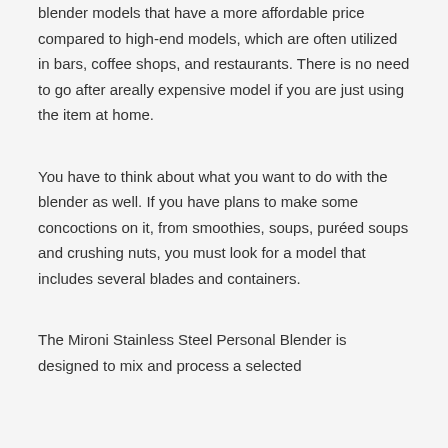blender models that have a more affordable price compared to high-end models, which are often utilized in bars, coffee shops, and restaurants. There is no need to go after areally expensive model if you are just using the item at home.
You have to think about what you want to do with the blender as well. If you have plans to make some concoctions on it, from smoothies, soups, puréed soups and crushing nuts, you must look for a model that includes several blades and containers.
The Mironi Stainless Steel Personal Blender is designed to mix and process a selected